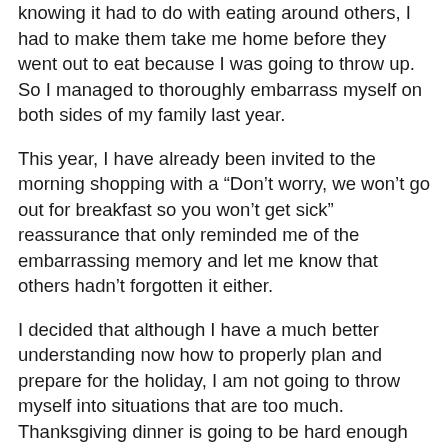knowing it had to do with eating around others, I had to make them take me home before they went out to eat because I was going to throw up. So I managed to thoroughly embarrass myself on both sides of my family last year.
This year, I have already been invited to the morning shopping with a “Don’t worry, we won’t go out for breakfast so you won’t get sick” reassurance that only reminded me of the embarrassing memory and let me know that others hadn’t forgotten it either.
I decided that although I have a much better understanding now how to properly plan and prepare for the holiday, I am not going to throw myself into situations that are too much. Thanksgiving dinner is going to be hard enough without throwing in more dangerous triggers. I don’t feel bad about it because I am not avoiding it because I am afraid, but rather I want to have a good memorable Thanksgiving that I can use to draw strength from next year. So I will stick to the basics and work my way up.
Positive Affirmation Alert: There’s no need to push